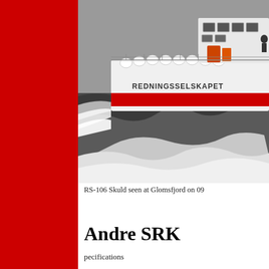[Figure (photo): A white rescue boat named REDNINGSSELSKAPET (RS-106 Skuld) speeding through choppy waters, creating large white wake waves. The boat has red hull trim, white fenders/buoys along the side, and crew visible on deck. Photo taken at Glomsfjord.]
RS-106 Skuld seen at Glomsfjord on 09
Andre SRK
pecifications